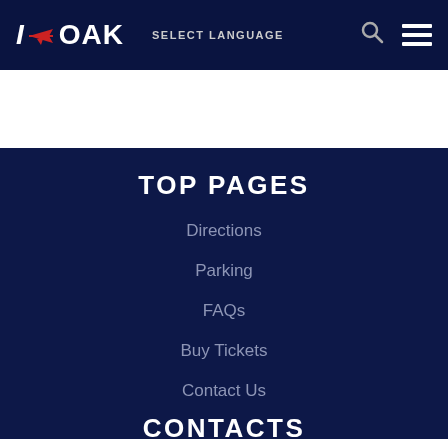I OAK — SELECT LANGUAGE — navigation bar with search and menu icons
TOP PAGES
Directions
Parking
FAQs
Buy Tickets
Contact Us
CONTACTS (partially visible)